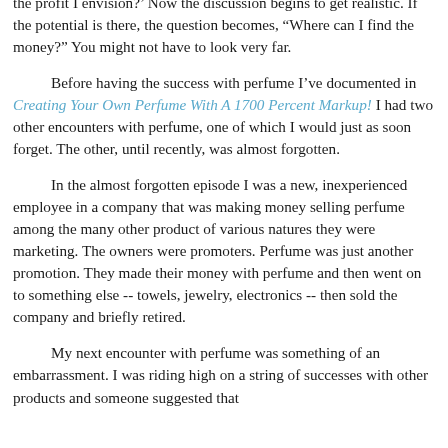the profit I envision?' Now the discussion begins to get realistic. If the potential is there, the question becomes, "Where can I find the money?" You might not have to look very far.
Before having the success with perfume I've documented in Creating Your Own Perfume With A 1700 Percent Markup! I had two other encounters with perfume, one of which I would just as soon forget. The other, until recently, was almost forgotten.
In the almost forgotten episode I was a new, inexperienced employee in a company that was making money selling perfume among the many other product of various natures they were marketing. The owners were promoters. Perfume was just another promotion. They made their money with perfume and then went on to something else -- towels, jewelry, electronics -- then sold the company and briefly retired.
My next encounter with perfume was something of an embarrassment. I was riding high on a string of successes with other products and someone suggested that...